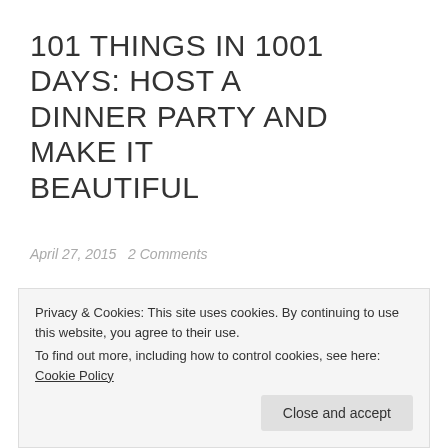101 THINGS IN 1001 DAYS: HOST A DINNER PARTY AND MAKE IT BEAUTIFUL
April 27, 2015   2 Comments
[Figure (photo): Pink/magenta colored image block, partially visible, with text 'days' visible at bottom in white italic script]
Privacy & Cookies: This site uses cookies. By continuing to use this website, you agree to their use.
To find out more, including how to control cookies, see here: Cookie Policy
Close and accept